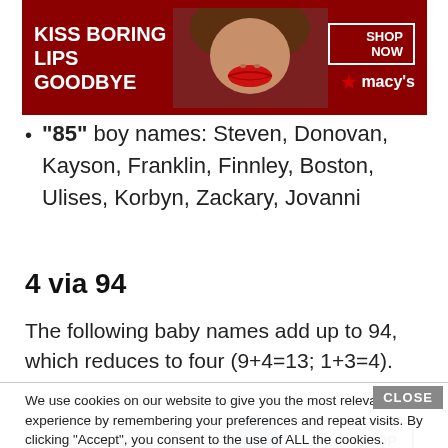[Figure (photo): Macy's advertisement banner: red background with woman's lips, text 'KISS BORING LIPS GOODBYE', 'SHOP NOW' button, Macy's star logo]
“85” boy names: Steven, Donovan, Kayson, Franklin, Finnley, Boston, Ulises, Korbyn, Zackary, Jovanni
4 via 94
The following baby names add up to 94, which reduces to four (9+4=13; 1+3=4).
We use cookies on our website to give you the most relevant experience by remembering your preferences and repeat visits. By clicking “Accept”, you consent to the use of ALL the cookies.
Do not sell my personal information.
[Figure (photo): Bloomingdale's advertisement: logo, 'View Today's Top Deals!', woman with blue hat, 'SHOP NOW >' button]